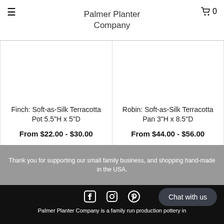Palmer Planter Company
Finch: Soft-as-Silk Terracotta Pot 5.5"H x 5"D
From $22.00 - $30.00
Robin: Soft-as-Silk Terracotta Pan 3"H x 8.5"D
From $44.00 - $56.00
Thank you for supporting our small family business, and shopping hand-made in the USA.
[Figure (other): Social media icons: Facebook, Instagram, Pinterest]
Chat with us
Palmer Planter Company is a family run production pottery in